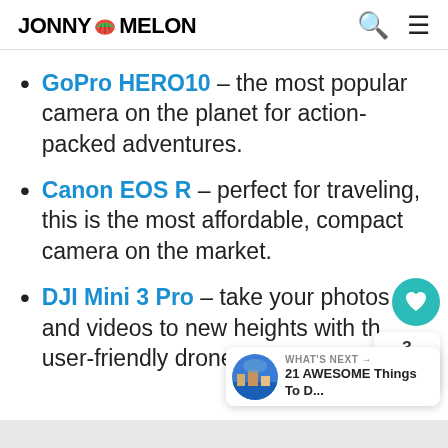JONNY MELON
GoPro HERO10 – the most popular camera on the planet for action-packed adventures.
Canon EOS R – perfect for traveling, this is the most affordable, compact camera on the market.
DJI Mini 3 Pro – take your photos and videos to new heights with the user-friendly drone camera.